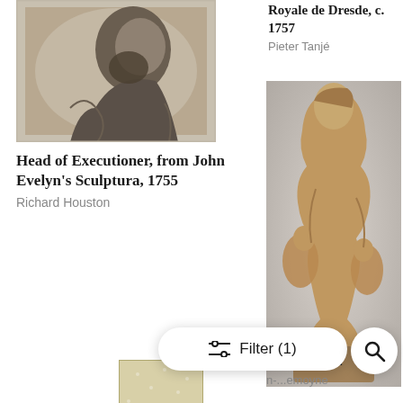[Figure (photo): Engraving portrait of a bearded man in profile, mezzotint style, sepia tones]
Royale de Dresde, c. 1757
Pieter Tanjé
Head of Executioner, from John Evelyn's Sculptura, 1755
Richard Houston
[Figure (photo): Terracotta sculpture of a female figure with cherubs, French 18th century style]
[Figure (photo): Japanese woodblock print on narrow vertical format showing a woman with hat]
Fe...ve, 1742
...n-...emoyne
Filter (1)